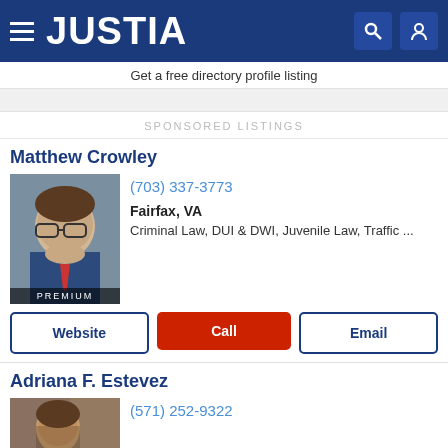JUSTIA
Get a free directory profile listing
SPONSORED LISTINGS
Matthew Crowley
(703) 337-3773
Fairfax, VA
Criminal Law, DUI & DWI, Juvenile Law, Traffic ...
PREMIUM
Website
Call
Email
Adriana F. Estevez
(571) 252-9322